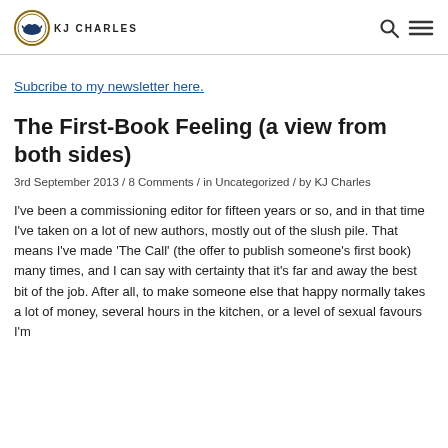KJ CHARLES
Subcribe to my newsletter here.
The First-Book Feeling (a view from both sides)
3rd September 2013 / 8 Comments / in Uncategorized / by KJ Charles
I've been a commissioning editor for fifteen years or so, and in that time I've taken on a lot of new authors, mostly out of the slush pile. That means I've made 'The Call' (the offer to publish someone's first book) many times, and I can say with certainty that it's far and away the best bit of the job. After all, to make someone else that happy normally takes a lot of money, several hours in the kitchen, or a level of sexual favours I'm